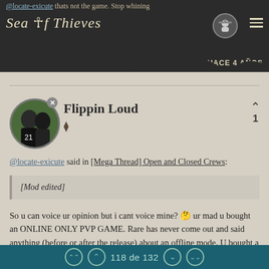@locate-exicute thats not the game. Stop whining
[Figure (logo): Sea of Thieves game logo with pirate icon and hamburger menu, timestamp 'HACE 4 AÑOS']
[Figure (photo): User avatar showing two people, circular crop with X close button]
Flippin Loud
@locate-exicute said in [Mega Thread] Open and Closed Crews:
[Mod edited]
So u can voice ur opinion but i cant voice mine? 🤔 ur mad u bought an ONLINE ONLY PVP GAME. Rare has never come out and said anything (before or after the release) about an offline mode. U bought a game that was marketed as an online
118 de 132